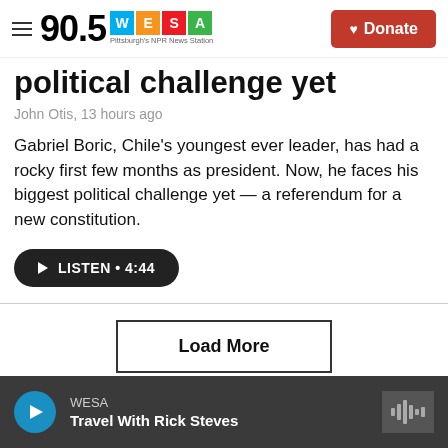90.5 WESA Pittsburgh's NPR News Station | Donate
political challenge yet
John Otis, 13 hours ago
Gabriel Boric, Chile's youngest ever leader, has had a rocky first few months as president. Now, he faces his biggest political challenge yet — a referendum for a new constitution.
LISTEN • 4:44
Load More
WESA Travel With Rick Steves